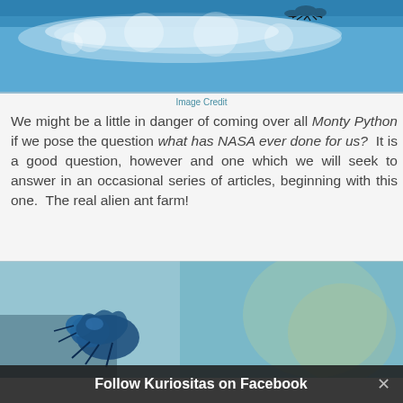[Figure (photo): Close-up photo of an ant on a blue/white bubbly surface, viewed from below through a water-like medium]
Image Credit
We might be a little in danger of coming over all Monty Python if we pose the question what has NASA ever done for us?  It is a good question, however and one which we will seek to answer in an occasional series of articles, beginning with this one.  The real alien ant farm!
[Figure (photo): Close-up macro photo of a blue ant or insect specimen against a blurred teal/blue background]
Follow Kuriositas on Facebook